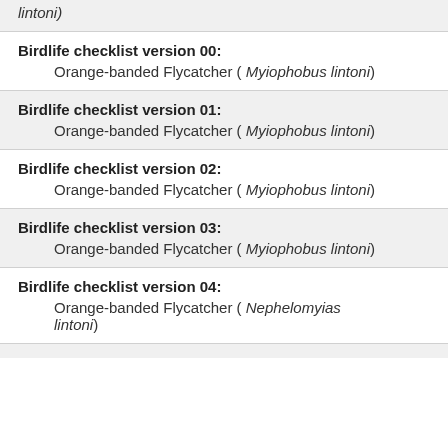lintoni)
Birdlife checklist version 00: Orange-banded Flycatcher ( Myiophobus lintoni)
Birdlife checklist version 01: Orange-banded Flycatcher ( Myiophobus lintoni)
Birdlife checklist version 02: Orange-banded Flycatcher ( Myiophobus lintoni)
Birdlife checklist version 03: Orange-banded Flycatcher ( Myiophobus lintoni)
Birdlife checklist version 04: Orange-banded Flycatcher ( Nephelomyias lintoni)